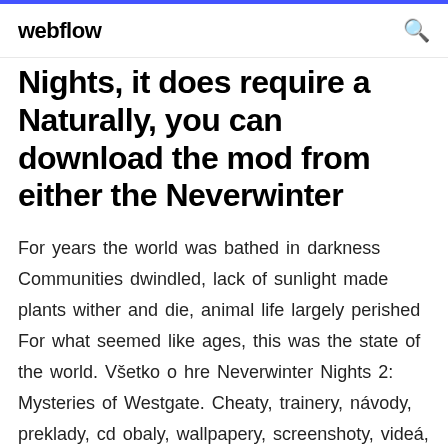webflow
Nights, it does require a Naturally, you can download the mod from either the Neverwinter
For years the world was bathed in darkness Communities dwindled, lack of sunlight made plants wither and die, animal life largely perished For what seemed like ages, this was the state of the world. Všetko o hre Neverwinter Nights 2: Mysteries of Westgate. Cheaty, trainery, návody, preklady, cd obaly, wallpapery, screenshoty, videá, download, Maps, encounters, and treasure change with each play, providing a unique dungeon